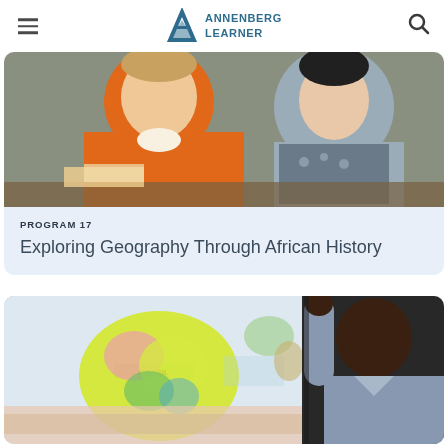Annenberg Learner
[Figure (photo): Two students working together at a classroom desk; one wearing an orange shirt]
PROGRAM 17
Exploring Geography Through African History
[Figure (photo): A teacher pointing at a colorful world map on a wall, with South America visible labeled BRASIL]